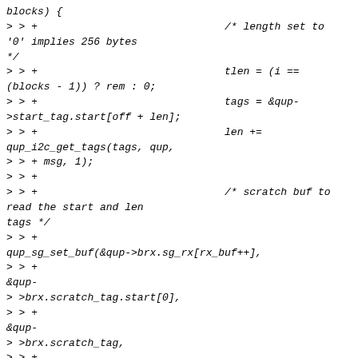blocks) {
> > +                              /* length set to '0' implies 256 bytes
*/
> > +                              tlen = (i ==
(blocks - 1)) ? rem : 0;
> > +                              tags = &qup->start_tag.start[off + len];
> > +                              len +=
qup_i2c_get_tags(tags, qup,
> > + msg, 1);
> > +
> > +                              /* scratch buf to read the start and len
tags */
> > +
qup_sg_set_buf(&qup->brx.sg_rx[rx_buf++],
> > +
&qup-> >brx.scratch_tag.start[0],
> > +
&qup-> >brx.scratch_tag,
> > +
> > + 2, qup, 0, 0);
> > +
> > +
qup_sg_set_buf(&qup->brx.sg_rx[rx_buf++],
> > +
&msg-